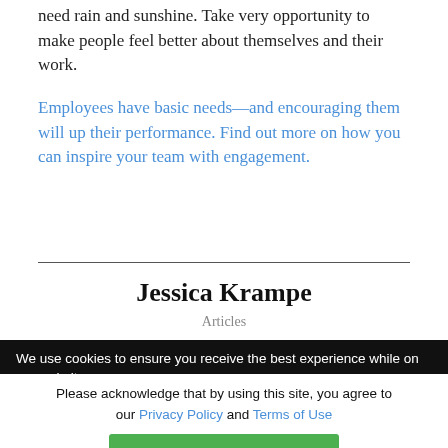need rain and sunshine. Take very opportunity to make people feel better about themselves and their work.
Employees have basic needs—and encouraging them will up their performance. Find out more on how you can inspire your team with engagement.
Jessica Krampe
Articles
We use cookies to ensure you receive the best experience while on our website.
Please acknowledge that by using this site, you agree to our Privacy Policy and Terms of Use
I AGREE